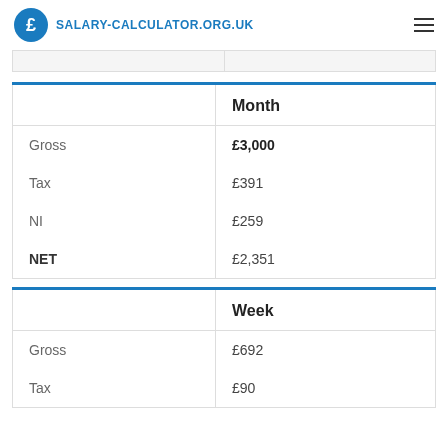SALARY-CALCULATOR.ORG.UK
|  | Month |
| --- | --- |
| Gross | £3,000 |
| Tax | £391 |
| NI | £259 |
| NET | £2,351 |
|  | Week |
| --- | --- |
| Gross | £692 |
| Tax | £90 |